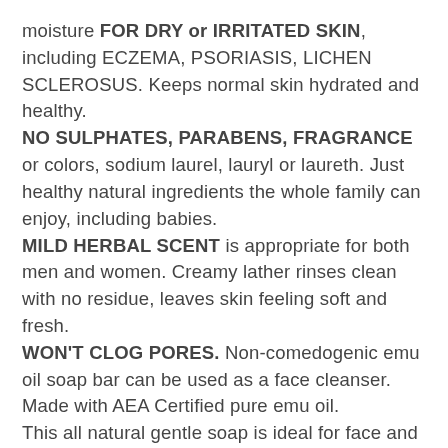moisture FOR DRY or IRRITATED SKIN, including ECZEMA, PSORIASIS, LICHEN SCLEROSUS. Keeps normal skin hydrated and healthy.
NO SULPHATES, PARABENS, FRAGRANCE or colors, sodium laurel, lauryl or laureth. Just healthy natural ingredients the whole family can enjoy, including babies.
MILD HERBAL SCENT is appropriate for both men and women. Creamy lather rinses clean with no residue, leaves skin feeling soft and fresh.
WON'T CLOG PORES. Non-comedogenic emu oil soap bar can be used as a face cleanser. Made with AEA Certified pure emu oil.
This all natural gentle soap is ideal for face and body.
HANDMADE WITH CARE IN SMALL BATCHES in the USA